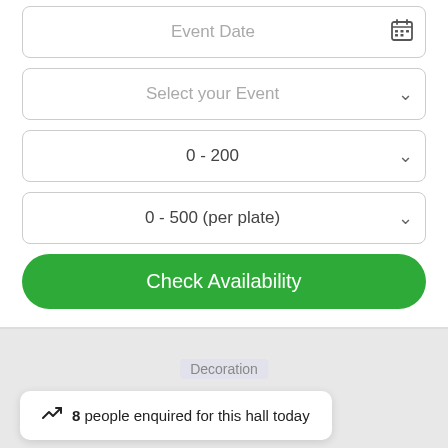[Figure (screenshot): Form fields for event booking: Event Date with calendar icon, Select your Event dropdown, 0-200 guest count dropdown, 0-500 per plate budget dropdown, Check Availability green button]
[Figure (screenshot): Bottom section with enquiry bubble showing '8 people enquired for this hall today', partial 'Decoration' text, and two bottom buttons: green 'Call this Hall Manager' and red 'Check for Availability']